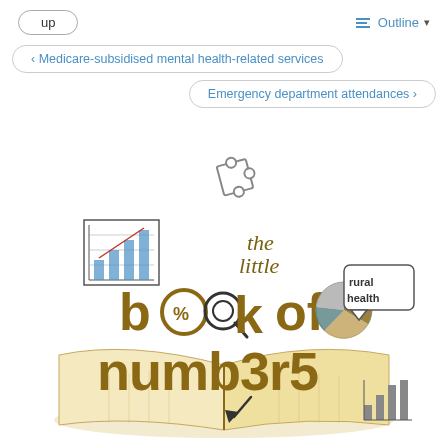up | Outline
‹ Medicare-subsidised mental health-related services
Emergency department attendances ›
[Figure (logo): The Little Book of Rural Health Numbers logo — an open book with illustrated charts, pie chart, magnifying glass, puzzle piece, percentage symbol, and hand-drawn typography reading 'the little book of numb3r5' with 'rural health' in a speech bubble.]